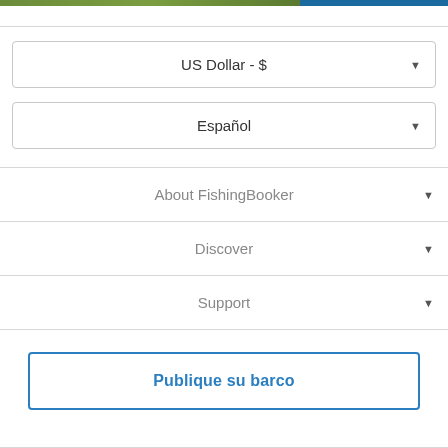[Figure (screenshot): Top strip showing two partial screenshots: left is a green outdoor/fishing scene, right is a blue water/boat scene]
US Dollar - $
Español
About FishingBooker
Discover
Support
Publique su barco